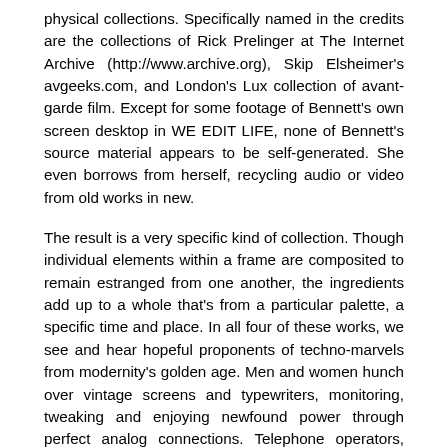physical collections. Specifically named in the credits are the collections of Rick Prelinger at The Internet Archive (http://www.archive.org), Skip Elsheimer's avgeeks.com, and London's Lux collection of avant-garde film. Except for some footage of Bennett's own screen desktop in WE EDIT LIFE, none of Bennett's source material appears to be self-generated. She even borrows from herself, recycling audio or video from old works in new.
The result is a very specific kind of collection. Though individual elements within a frame are composited to remain estranged from one another, the ingredients add up to a whole that's from a particular palette, a specific time and place. In all four of these works, we see and hear hopeful proponents of techno-marvels from modernity's golden age. Men and women hunch over vintage screens and typewriters, monitoring, tweaking and enjoying newfound power through perfect analog connections. Telephone operators, orchestra conductors, audio engineers, and city planners listen to the spaces on the other side of an edit, command our attention, or carry out plans via remote operation.